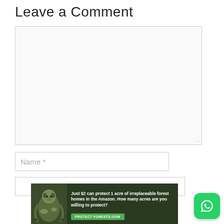Leave a Comment
[Figure (screenshot): Empty comment text area input box with resize handle]
Name *
Email field (partially visible)
[Figure (infographic): Amazon forest protection advertisement banner: 'Just $2 can protect 1 acre of irreplaceable forest homes in the Amazon. How many acres are you willing to protect?' with a sloth image and a green PROTECT FORESTS NOW button]
[Figure (logo): WhatsApp icon — green rounded square with white phone/chat bubble logo]